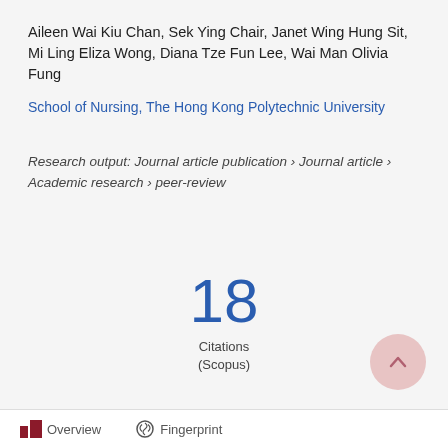Aileen Wai Kiu Chan, Sek Ying Chair, Janet Wing Hung Sit, Mi Ling Eliza Wong, Diana Tze Fun Lee, Wai Man Olivia Fung
School of Nursing, The Hong Kong Polytechnic University
Research output: Journal article publication › Journal article › Academic research › peer-review
18
Citations
(Scopus)
Overview   Fingerprint